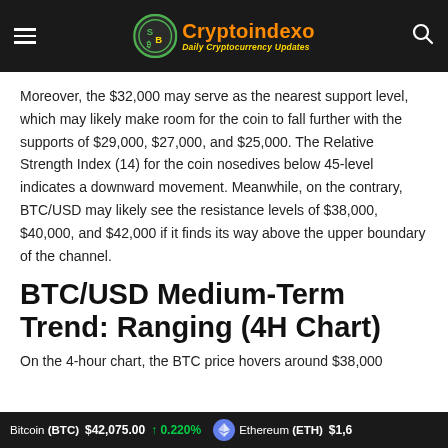Cryptoindexo — Daily Cryptocurrency Updates
Moreover, the $32,000 may serve as the nearest support level, which may likely make room for the coin to fall further with the supports of $29,000, $27,000, and $25,000. The Relative Strength Index (14) for the coin nosedives below 45-level indicates a downward movement. Meanwhile, on the contrary, BTC/USD may likely see the resistance levels of $38,000, $40,000, and $42,000 if it finds its way above the upper boundary of the channel.
BTC/USD Medium-Term Trend: Ranging (4H Chart)
On the 4-hour chart, the BTC price hovers around $38,000
Bitcoin (BTC) $42,075.00 ↑ 0.220%   Ethereum (ETH) $1,6...